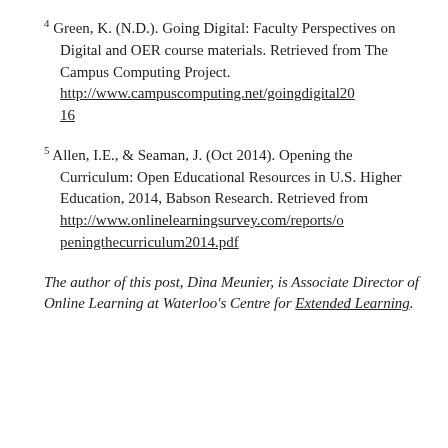4 Green, K. (N.D.). Going Digital: Faculty Perspectives on Digital and OER course materials. Retrieved from The Campus Computing Project. http://www.campuscomputing.net/goingdigital2016
5 Allen, I.E., & Seaman, J. (Oct 2014). Opening the Curriculum: Open Educational Resources in U.S. Higher Education, 2014, Babson Research. Retrieved from http://www.onlinelearningsurvey.com/reports/openingthecurriculum2014.pdf
The author of this post, Dina Meunier, is Associate Director of Online Learning at Waterloo's Centre for Extended Learning.